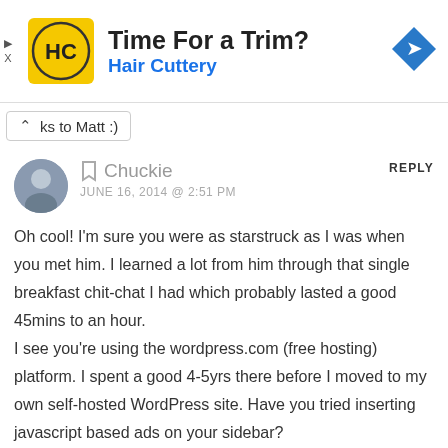[Figure (other): Hair Cuttery advertisement banner with yellow HC logo, text 'Time For a Trim?' and 'Hair Cuttery', and a blue navigation arrow icon on the right.]
ks to Matt :)
Chuckie
JUNE 16, 2014 @ 2:51 PM
REPLY
Oh cool! I'm sure you were as starstruck as I was when you met him. I learned a lot from him through that single breakfast chit-chat I had which probably lasted a good 45mins to an hour.
I see you're using the wordpress.com (free hosting) platform. I spent a good 4-5yrs there before I moved to my own self-hosted WordPress site. Have you tried inserting javascript based ads on your sidebar?